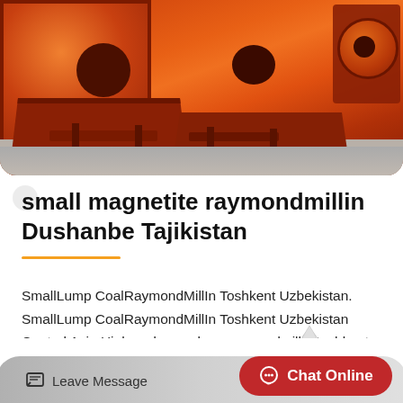[Figure (photo): Industrial orange/red heavy machinery (raymond mill equipment) sitting on a grey concrete floor, multiple units visible]
small magnetite raymondmillin Dushanbe Tajikistan
SmallLump CoalRaymondMillIn Toshkent Uzbekistan. SmallLump CoalRaymondMillIn Toshkent Uzbekistan Central Asia High end new glass raymondmillin toshkent uzbekistan...
[Figure (illustration): Small rocket/spaceship emoji illustration]
Leave Message
Chat Online